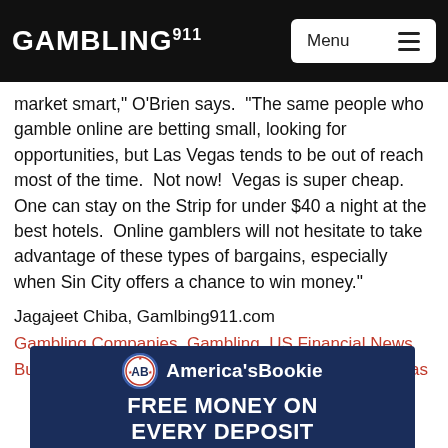GAMBLING911 | Menu
market smart," O'Brien says.  "The same people who gamble online are betting small, looking for opportunities, but Las Vegas tends to be out of reach most of the time.  Not now!  Vegas is super cheap.  One can stay on the Strip for under $40 a night at the best hotels.  Online gamblers will not hesitate to take advantage of these types of bargains, especially when Sin City offers a chance to win money."
Jagajeet Chiba, Gamlbing911.com
Gambling Companies  Gambling  US Financial News  Business &amp; Financial  Gambling News  Las Vegas
[Figure (infographic): America's Bookie advertisement banner: AB logo, brand name 'America'sBookie', tagline 'FREE MONEY ON EVERY DEPOSIT' on dark navy background]